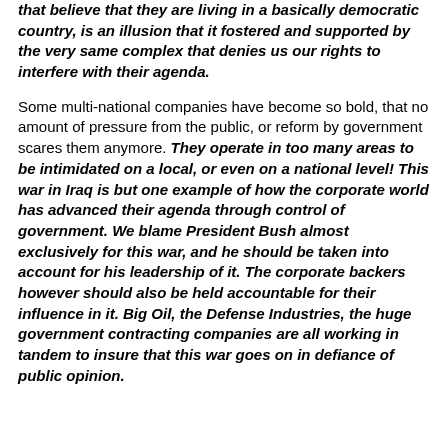that believe that they are living in a basically democratic country, is an illusion that it fostered and supported by the very same complex that denies us our rights to interfere with their agenda. Some multi-national companies have become so bold, that no amount of pressure from the public, or reform by government scares them anymore. They operate in too many areas to be intimidated on a local, or even on a national level! This war in Iraq is but one example of how the corporate world has advanced their agenda through control of government. We blame President Bush almost exclusively for this war, and he should be taken into account for his leadership of it. The corporate backers however should also be held accountable for their influence in it. Big Oil, the Defense Industries, the huge government contracting companies are all working in tandem to insure that this war goes on in defiance of public opinion.